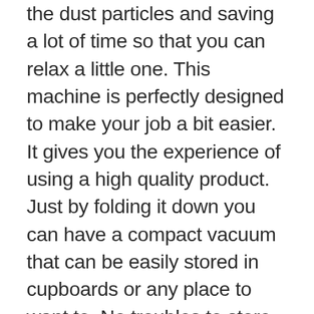the dust particles and saving a lot of time so that you can relax a little one. This machine is perfectly designed to make your job a bit easier. It gives you the experience of using a high quality product. Just by folding it down you can have a compact vacuum that can be easily stored in cupboards or any place to want to. No troubles to store the vacuum anymore. This vacuum can be easily converted into a handheld machine so that you can effortlessly clean your beds and sofas. It just makes your work a lot easier. It helps you to do the deep cleaning of the carpets as well as the hard floors. It makes sure that all the dirt particles are removed. It can also be used on the places that are very hard to reach. It is so flexible that you can easily use it under the furniture and sofas as